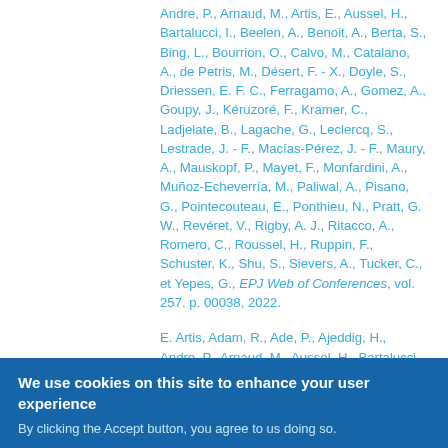Andre, P., Arnaud, M., Artis, E., Aussel, H., Bartalucci, I., Beelen, A., Benoit, A., Berta, S., Bing, L., Bourrion, O., Calvo, M., Catalano, A., de Petris, M., Désert, F. - X., Doyle, S., Driessen, E. F. C., Ferragamo, A., Gomez, A., Goupy, J., Kéruzoré, F., Kramer, C., Ladjelate, B., Lagache, G., Leclercq, S., Lestrade, J. - F., Macías-Pérez, J. - F., Maury, A., Mauskopf, P., Mayet, F., Monfardini, A., Muñoz-Echeverría, M., Paliwal, A., Pisano, G., Pointecouteau, E., Ponthieu, N., Pratt, G. W., Revéret, V., Rigby, A. J., Ritacco, A., Romero, C., Roussel, H., Ruppin, F., Schuster, K., Shu, S., Sievers, A., Tucker, C., et Yepes, G., EPJ Web of Conferences, vol. 257. p. 00038, 2022.
E. Artis, Adam, R., Ade, P., Ajeddig, H., Andre, P., Arnaud, M., Aussel, H., Bartalucci, I., Beelen, A., Benoit, A., Berta, S., Bing, L., Bourrion, O.,
We use cookies on this site to enhance your user experience
By clicking the Accept button, you agree to us doing so.